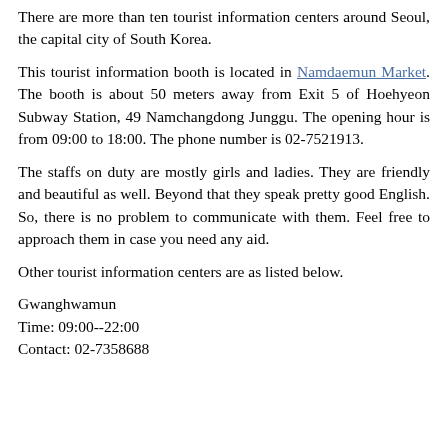There are more than ten tourist information centers around Seoul, the capital city of South Korea.
This tourist information booth is located in Namdaemun Market. The booth is about 50 meters away from Exit 5 of Hoehyeon Subway Station, 49 Namchangdong Junggu. The opening hour is from 09:00 to 18:00. The phone number is 02-7521913.
The staffs on duty are mostly girls and ladies. They are friendly and beautiful as well. Beyond that they speak pretty good English. So, there is no problem to communicate with them. Feel free to approach them in case you need any aid.
Other tourist information centers are as listed below.
Gwanghwamun
Time: 09:00--22:00
Contact: 02-7358688